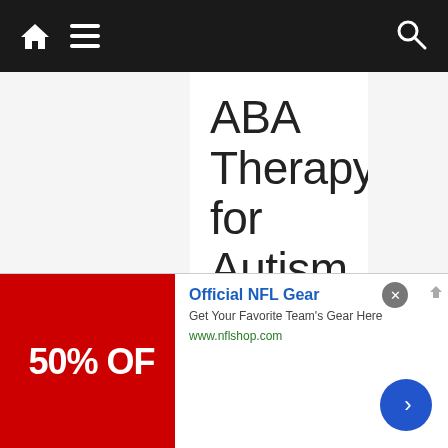Navigation bar with home, menu, and search icons
ABA Therapy for Autism
Dedicated, Local Team
All insurances & Medicaid accepted
behavioralframework.com
[Figure (screenshot): Bottom advertisement banner for Official NFL Gear showing 50% OFF promotional image on left, with text 'Official NFL Gear', 'Get Your Favorite Team's Gear Here', 'www.nflshop.com', and a blue arrow CTA button on right]